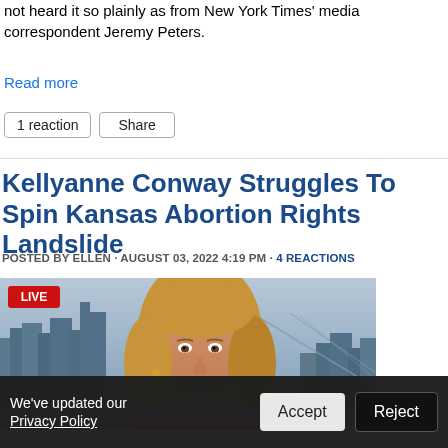not heard it so plainly as from New York Times' media correspondent Jeremy Peters.
Read more
1 reaction   Share
Kellyanne Conway Struggles To Spin Kansas Abortion Rights Landslide
POSTED BY ELLEN · AUGUST 03, 2022 4:19 PM · 4 REACTIONS
[Figure (photo): TV screenshot labeled LIVE showing Kellyanne Conway being interviewed on CNN with a city skyline background]
We've updated our Privacy Policy   Accept   Reject